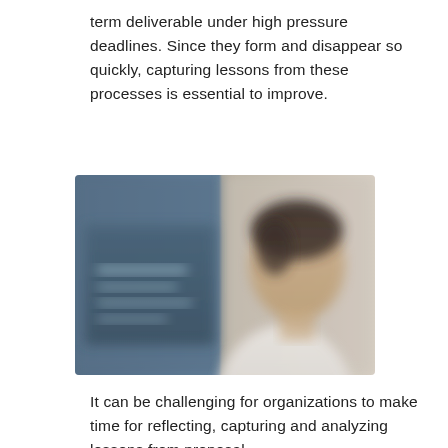term deliverable under high pressure deadlines. Since they form and disappear so quickly, capturing lessons from these processes is essential to improve.
[Figure (photo): Blurred photo of a person in a white shirt next to a dark blue panel with light-colored text on it, suggesting a professional or business context.]
It can be challenging for organizations to make time for reflecting, capturing and analyzing lessons from proposal